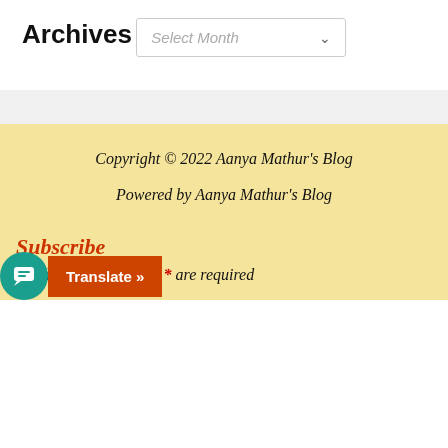Archives
[Figure (screenshot): Dropdown selector labeled 'Select Month' with a chevron arrow]
Copyright © 2022 Aanya Mathur's Blog
Powered by Aanya Mathur's Blog
Subscribe
Fields marked with an * are required
[Figure (screenshot): Translate button overlay with teal chat icon and orange 'Translate »' button]